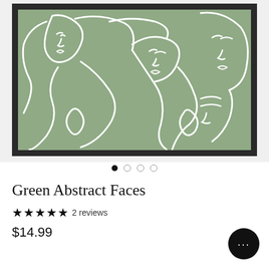[Figure (illustration): Framed wall art print showing green abstract faces line drawing on sage green background with dark/black frame. White continuous line art depicting multiple abstract facial features on a muted sage/olive green background.]
Green Abstract Faces
★★★★★ 2 reviews
$14.99